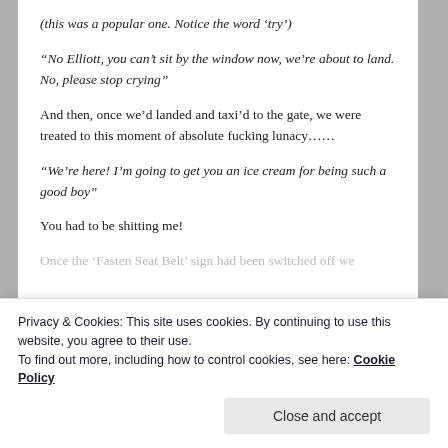(this was a popular one.  Notice the word 'try')
“No Elliott, you can’t sit by the window now, we’re about to land.  No, please stop crying”
And then, once we’d landed and taxi’d to the gate, we were treated to this moment of absolute fucking lunacy……
“We’re here!  I’m going to get you an ice cream for being such a good boy”
You had to be shitting me!
Once the ‘Fasten Seat Belt’ sign had been switched off we
Privacy & Cookies: This site uses cookies. By continuing to use this website, you agree to their use.
To find out more, including how to control cookies, see here: Cookie Policy
Close and accept